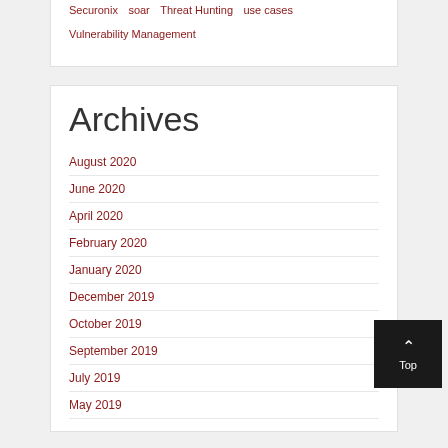Securonix  soar  Threat Hunting  use cases
Vulnerability Management
Archives
August 2020
June 2020
April 2020
February 2020
January 2020
December 2019
October 2019
September 2019
July 2019
May 2019